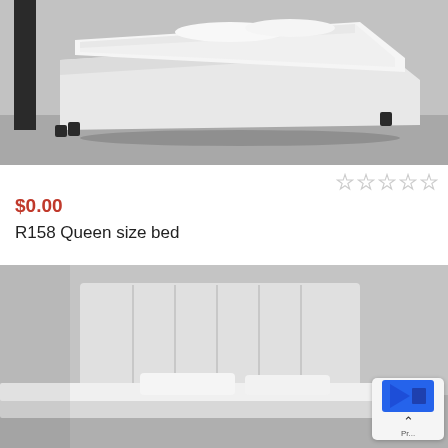[Figure (photo): White upholstered queen size bed with dark headboard and legs, photographed in a grey room setting, angled view showing mattress with white bedding.]
$0.00
R158 Queen size bed
[Figure (photo): White upholstered bed headboard with vertical channel tufting, shown close-up with white pillows and bedding against a grey wall.]